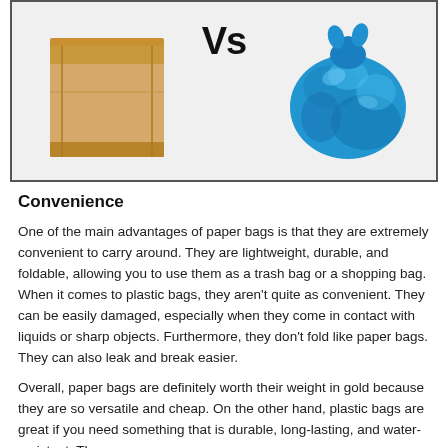[Figure (illustration): A brown paper bag on the left, 'Vs' text in bold in the center, and a crumpled blue plastic bag on the right, shown inside a bordered box.]
Convenience
One of the main advantages of paper bags is that they are extremely convenient to carry around. They are lightweight, durable, and foldable, allowing you to use them as a trash bag or a shopping bag. When it comes to plastic bags, they aren't quite as convenient. They can be easily damaged, especially when they come in contact with liquids or sharp objects. Furthermore, they don't fold like paper bags. They can also leak and break easier.
Overall, paper bags are definitely worth their weight in gold because they are so versatile and cheap. On the other hand, plastic bags are great if you need something that is durable, long-lasting, and water-resistant. They ...